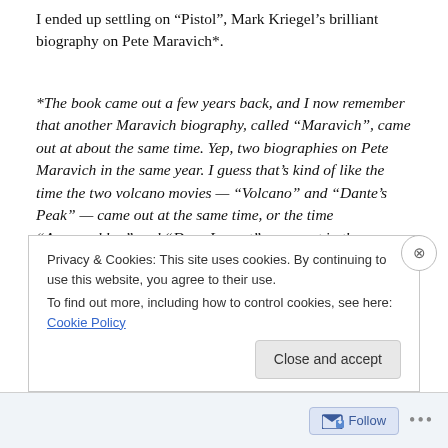I ended up settling on “Pistol”, Mark Kriegel’s brilliant biography on Pete Maravich*.
*The book came out a few years back, and I now remember that another Maravich biography, called “Maravich”, came out at about the same time. Yep, two biographies on Pete Maravich in the same year. I guess that’s kind of like the time the two volcano movies — “Volcano” and “Dante’s Peak” — came out at the same time, or the time “Armageddon” and “Deep Impact” came out in the same summer.
Privacy & Cookies: This site uses cookies. By continuing to use this website, you agree to their use.
To find out more, including how to control cookies, see here: Cookie Policy
Follow ...